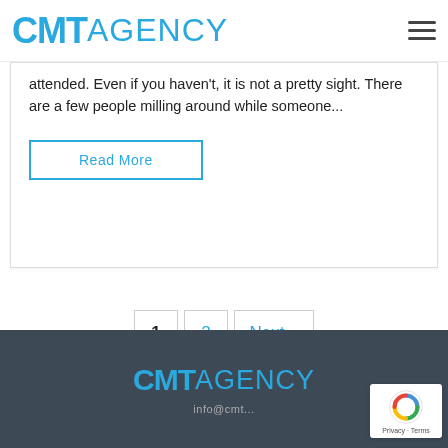CMT AGENCY
attended. Even if you haven't, it is not a pretty sight. There are a few people milling around while someone...
Read More
1  2  Next »
CMT AGENCY